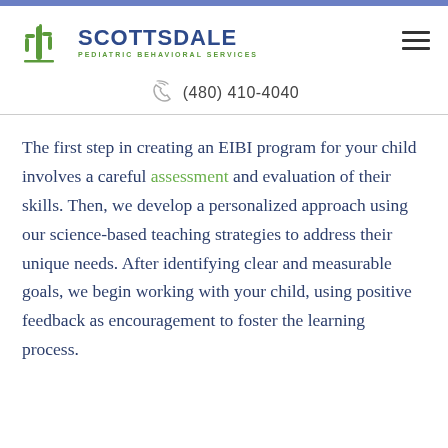[Figure (logo): Scottsdale Pediatric Behavioral Services logo with green cactus icon and blue text]
(480) 410-4040
The first step in creating an EIBI program for your child involves a careful assessment and evaluation of their skills. Then, we develop a personalized approach using our science-based teaching strategies to address their unique needs. After identifying clear and measurable goals, we begin working with your child, using positive feedback as encouragement to foster the learning process.